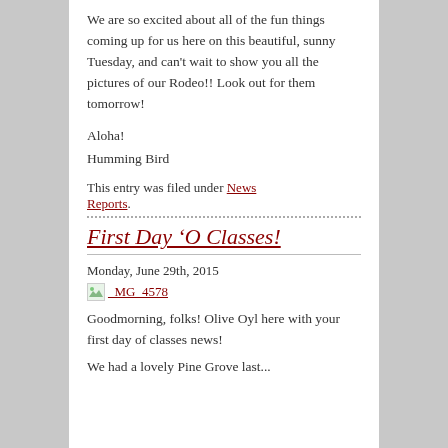We are so excited about all of the fun things coming up for us here on this beautiful, sunny Tuesday, and can't wait to show you all the pictures of our Rodeo!! Look out for them tomorrow!
Aloha!
Humming Bird
This entry was filed under News Reports.
First Day 'O Classes!
Monday, June 29th, 2015
[Figure (photo): Broken image link labeled _MG_4578]
Goodmorning, folks! Olive Oyl here with your first day of classes news!
We had a lovely Pine Grove last...